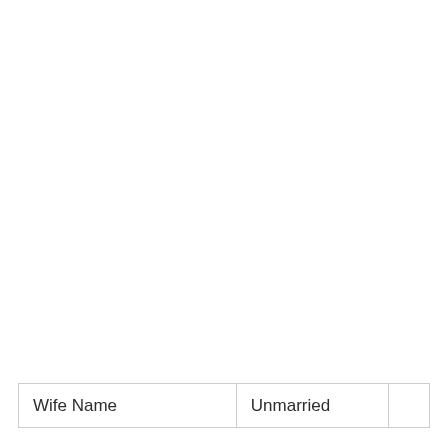| Wife Name | Unmarried |  |
| --- | --- | --- |
| Wife Name | Unmarried |  |